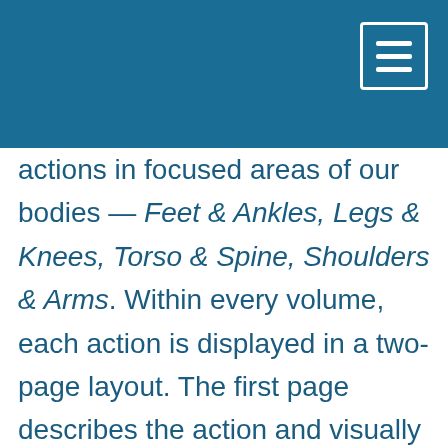actions in focused areas of our bodies — Feet & Ankles, Legs & Knees, Torso & Spine, Shoulders & Arms.  Within every volume, each action is displayed in a two-page layout.  The first page describes the action and visually demonstrates the experience through a Pre Pose.  The second page provides a five-pose Peak practice sequence to further expand your experience of the action.  Finally, we follow each